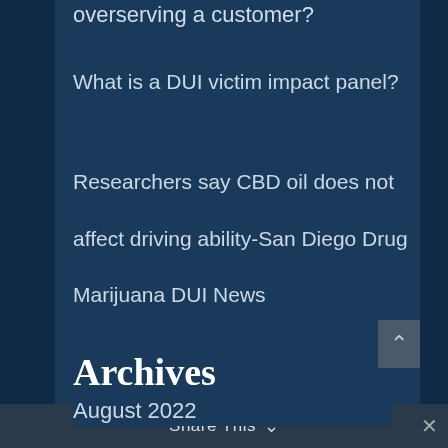overserving a customer?
What is a DUI victim impact panel?
Researchers say CBD oil does not affect driving ability-San Diego Drug Marijuana DUI News
Archives
August 2022
June 2022
Share This